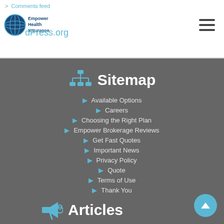> Comments feed
[Figure (logo): Empower Health Insurance logo - circular globe icon with company name]
dPress.org
Sitemap
Available Options
Careers
Choosing the Right Plan
Empower Brokerage Reviews
Get Fast Quotes
Important News
Privacy Policy
Quote
Terms of Use
Thank You
Articles